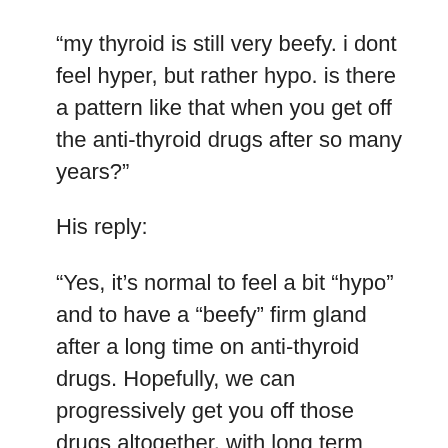“my thyroid is still very beefy. i dont feel hyper, but rather hypo. is there a pattern like that when you get off the anti-thyroid drugs after so many years?”
His reply:
“Yes, it’s normal to feel a bit “hypo” and to have a “beefy” firm gland after a long time on anti-thyroid drugs. Hopefully, we can progressively get you off those drugs altogether, with long term remission being the real goal here……”
…glad I’m “normal”.
July 9, 2009 Update